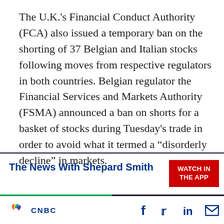The U.K.'s Financial Conduct Authority (FCA) also issued a temporary ban on the shorting of 37 Belgian and Italian stocks following moves from respective regulators in both countries. Belgian regulator the Financial Services and Markets Authority (FSMA) announced a ban on shorts for a basket of stocks during Tuesday's trade in order to avoid what it termed a “disorderly decline” in markets.
The News With Shepard Smith
WATCH IN THE APP
UP NEXT | Worldwide Exchange 05:00 am ET
CNBC